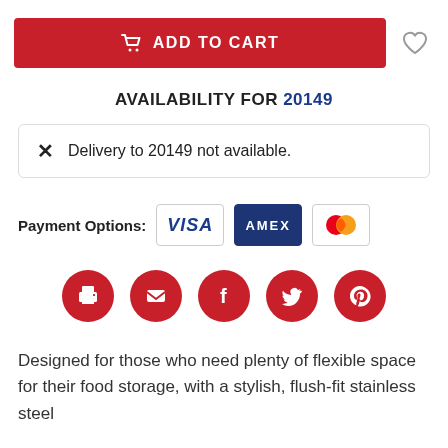ADD TO CART
AVAILABILITY FOR 20149
Delivery to 20149 not available.
Payment Options: VISA AMEX Mastercard
[Figure (infographic): Social sharing icons row: print, email, Facebook, Twitter, Pinterest — all red circles with white icons]
Designed for those who need plenty of flexible space for their food storage, with a stylish, flush-fit stainless steel